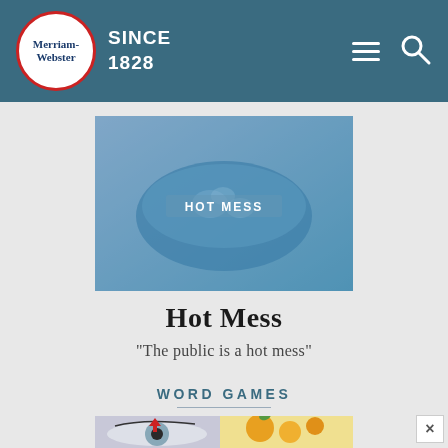Merriam-Webster SINCE 1828
[Figure (photo): Photo of a hot mess dish (food in a pot) with blue overlay tint and 'HOT MESS' text label centered over the image]
Hot Mess
"The public is a hot mess"
WORD GAMES
[Figure (photo): Bottom image showing an eye with red arrow pointing down and citrus fruits (kumquats/oranges) on a yellow background, partially visible word games image]